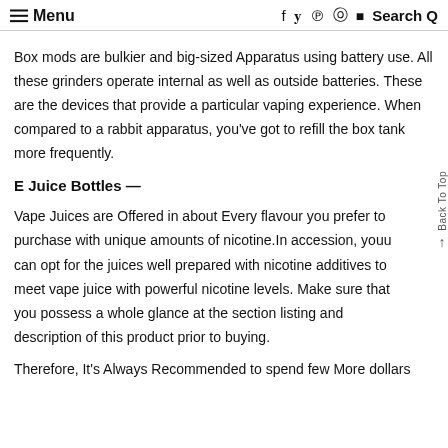≡ Menu   f ψ ρ ◎ ▶   Search Q
Box mods are bulkier and big-sized Apparatus using battery use. All these grinders operate internal as well as outside batteries. These are the devices that provide a particular vaping experience. When compared to a rabbit apparatus, you've got to refill the box tank more frequently.
E Juice Bottles —
Vape Juices are Offered in about Every flavour you prefer to purchase with unique amounts of nicotine.In accession, youu can opt for the juices well prepared with nicotine additives to meet vape juice with powerful nicotine levels. Make sure that you possess a whole glance at the section listing and description of this product prior to buying.
Therefore, It's Always Recommended to spend few More dollars